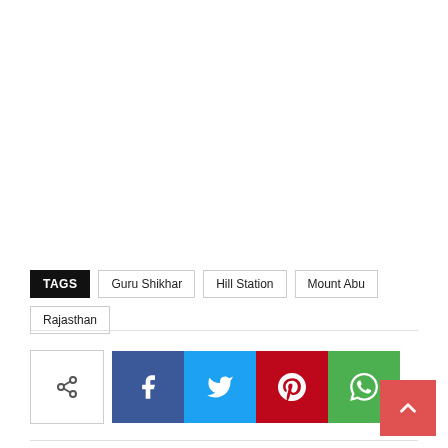TAGS  Guru Shikhar  Hill Station  Mount Abu  Rajasthan
[Figure (infographic): Social share buttons row: a share icon button (white/bordered), Facebook (dark blue, f icon), Twitter (blue, bird icon), Pinterest (red, P icon), WhatsApp (green, phone icon). Also a back-to-top red button with up arrow in bottom right.]